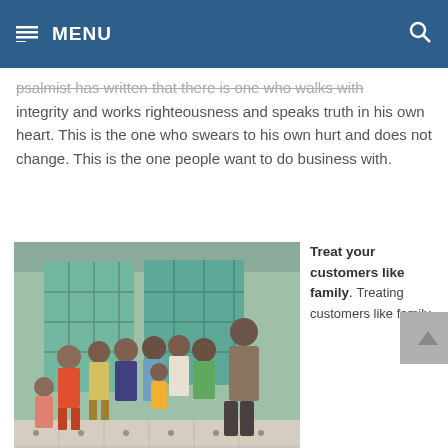MENU
psalmist has written that there is one who walks with integrity and works righteousness and speaks truth in his own heart. This is the one who swears to his own hurt and does not change. This is the one people want to do business with.
[Figure (photo): A group of young children and a man in a plaid shirt gathered together indoors in front of a teal/green building, appearing to be in Southeast Asia.]
Treat your customers like family. Treating customers like family